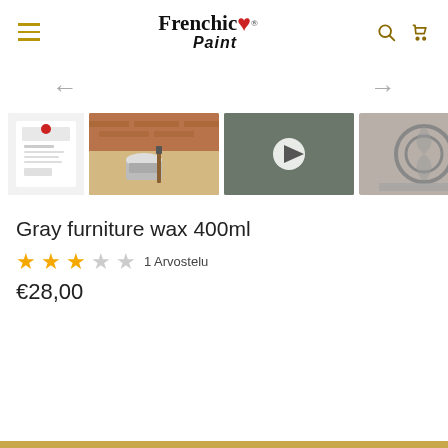Frenchic Paint — navigation header with logo, hamburger menu, search and cart icons
[Figure (screenshot): Product image carousel with 5 thumbnails showing gray furniture wax product, application photos, a video thumbnail, texture detail, and a furniture photo. Navigation arrows (left and right) above the thumbnails.]
Gray furniture wax 400ml
★★★☆☆ 1 Arvostelu
€28,00